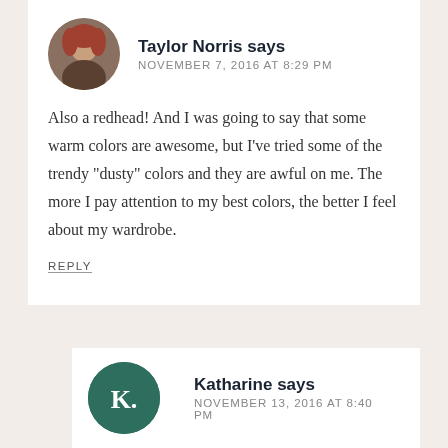[Figure (photo): Circular profile photo of Taylor Norris, a woman with reddish-brown hair]
Taylor Norris says
NOVEMBER 7, 2016 AT 8:29 PM
Also a redhead! And I was going to say that some warm colors are awesome, but I've tried some of the trendy “dusty” colors and they are awful on me. The more I pay attention to my best colors, the better I feel about my wardrobe.
REPLY
[Figure (illustration): Circular dark green avatar with white letter K. for Katharine]
Katharine says
NOVEMBER 13, 2016 AT 8:40 PM
Totally agree with you, Taylor! The more I